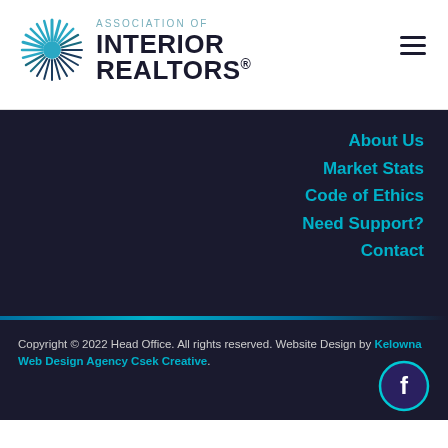[Figure (logo): Association of Interior Realtors logo with starburst/snowflake icon and text]
About Us
Market Stats
Code of Ethics
Need Support?
Contact
Copyright © 2022 Head Office. All rights reserved. Website Design by Kelowna Web Design Agency Csek Creative.
[Figure (logo): Facebook circular icon button with teal border on dark background]
The trademarks displayed on this site, including CREA®, MLS®, Multiple Listing Service®, REALTOR.CA and the associated logos and design marks are owned by the Canadian Real Estate Association. REALTOR® is a trade mark of REALTOR® Canada Inc., a corporation owned by Canadian Real Estate Association and the National Association of REALTORS®